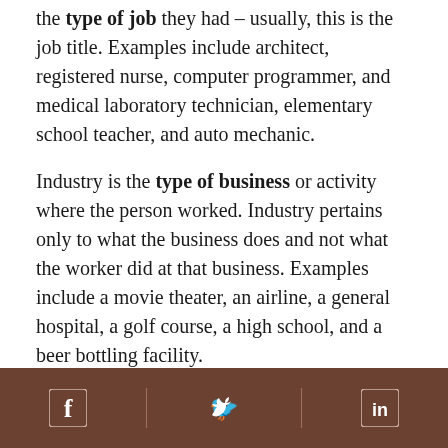the type of job they had – usually, this is the job title. Examples include architect, registered nurse, computer programmer, and medical laboratory technician, elementary school teacher, and auto mechanic.
Industry is the type of business or activity where the person worked. Industry pertains only to what the business does and not what the worker did at that business. Examples include a movie theater, an airline, a general hospital, a golf course, a high school, and a beer bottling facility.
Usual Occupation Is the Longest-held Occupation
[Facebook icon] [Twitter icon] [LinkedIn icon]